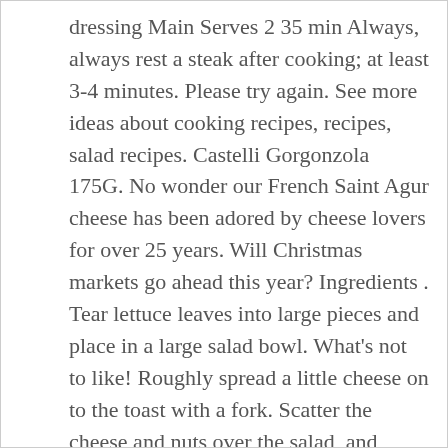dressing Main Serves 2 35 min Always, always rest a steak after cooking; at least 3-4 minutes. Please try again. See more ideas about cooking recipes, recipes, salad recipes. Castelli Gorgonzola 175G. No wonder our French Saint Agur cheese has been adored by cheese lovers for over 25 years. Will Christmas markets go ahead this year? Ingredients . Tear lettuce leaves into large pieces and place in a large salad bowl. What's not to like! Roughly spread a little cheese on to the toast with a fork. Scatter the cheese and nuts over the salad, and season with salt and pepper, to taste. Tuck the cheesy baguette slices into the salad leaves. Pears and blue cheese are an absolute genius paring, they just work! A fruity elegant salad that's sure to impress. watercress for salad. ALL RIGHTS RESERVED ©2020 Allrecipes.com, Inc. Quarter and core the apples, cut them into